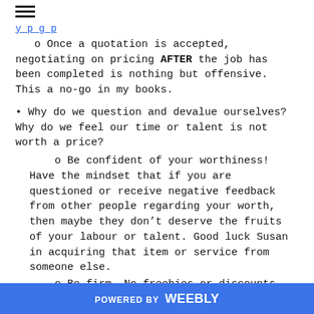☰
o Once a quotation is accepted, negotiating on pricing AFTER the job has been completed is nothing but offensive. This a no-go in my books.
• Why do we question and devalue ourselves? Why do we feel our time or talent is not worth a price?
o Be confident of your worthiness! Have the mindset that if you are questioned or receive negative feedback from other people regarding your worth, then maybe they don't deserve the fruits of your labour or talent. Good luck Susan in acquiring that item or service from someone else.
o Be firm. No freebies or discounts. No, Aunt Marge! The price is the price.
o You have worked hard at your studies. Getting that qualification, completing the training, or hunting down mentors who gave you the experience didn't take five
POWERED BY weebly